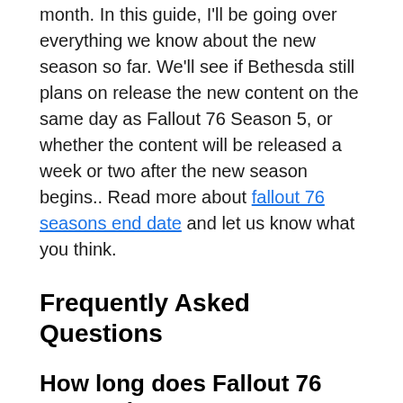month. In this guide, I'll be going over everything we know about the new season so far. We'll see if Bethesda still plans on release the new content on the same day as Fallout 76 Season 5, or whether the content will be released a week or two after the new season begins.. Read more about fallout 76 seasons end date and let us know what you think.
Frequently Asked Questions
How long does Fallout 76 season last?
The Fallout 76 season is a period of time that lasts for approximately four months.